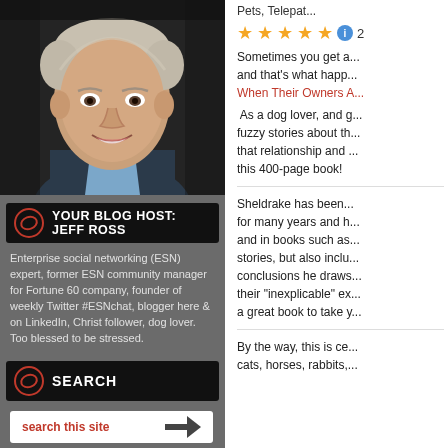[Figure (photo): Headshot photo of Jeff Ross, a smiling middle-aged man in a dark blazer and light blue shirt]
YOUR BLOG HOST: JEFF ROSS
Enterprise social networking (ESN) expert, former ESN community manager for Fortune 60 company, founder of weekly Twitter #ESNchat, blogger here & on LinkedIn, Christ follower, dog lover. Too blessed to be stressed.
SEARCH
search this site
RECENT POSTS
Pets, Telepat...
Sometimes you get a... and that's what happ... When Their Owners A...
As a dog lover, and g... fuzzy stories about th... that relationship and ... this 400-page book!
Sheldrake has been... for many years and h... and in books such as... stories, but also inclu... conclusions he draws... their "inexplicable" ex... a great book to take y...
By the way, this is ce... cats, horses, rabbits,...